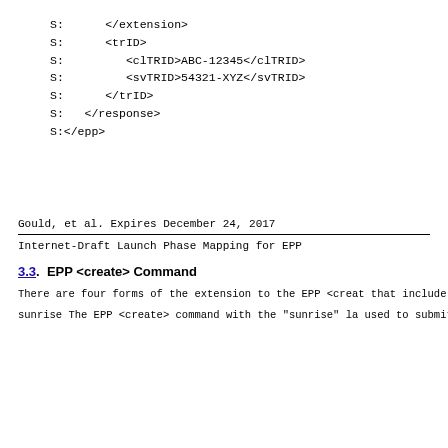S:      </extension>
S:      <trID>
S:         <clTRID>ABC-12345</clTRID>
S:         <svTRID>54321-XYZ</svTRID>
S:      </trID>
S:   </response>
S:</epp>
Gould, et al.            Expires December 24, 2017
Internet-Draft           Launch Phase Mapping for EPP
3.3.  EPP <create> Command
There are four forms of the extension to the EPP <creat
that include the Sunrise Create Form (Section 3.3.1), t
Create Form (Section 3.3.2), the General Create Form (S
and the Mixed Create Form (Section 3.3.4).  The form is
the supported launch phases (Section 2.3) as defined be
sunrise  The EPP <create> command with the "sunrise" la
   used to submit a registration with trademark informa